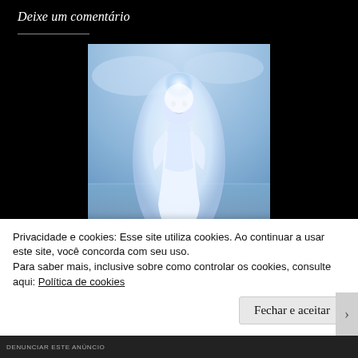Deixe um comentário
[Figure (photo): A white-clad humanoid figure with glowing halo standing against a blue sky and sea background, all in bright white tones]
Privacidade e cookies: Esse site utiliza cookies. Ao continuar a usar este site, você concorda com seu uso.
Para saber mais, inclusive sobre como controlar os cookies, consulte aqui: Política de cookies
Fechar e aceitar